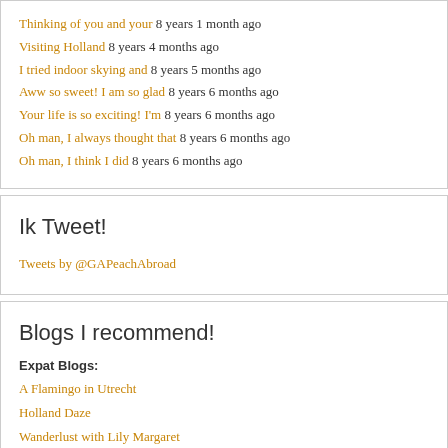Thinking of you and your 8 years 1 month ago
Visiting Holland 8 years 4 months ago
I tried indoor skying and 8 years 5 months ago
Aww so sweet! I am so glad 8 years 6 months ago
Your life is so exciting! I'm 8 years 6 months ago
Oh man, I always thought that 8 years 6 months ago
Oh man, I think I did 8 years 6 months ago
Ik Tweet!
Tweets by @GAPeachAbroad
Blogs I recommend!
Expat Blogs:
A Flamingo in Utrecht
Holland Daze
Wanderlust with Lily Margaret
My Talented American Friends: